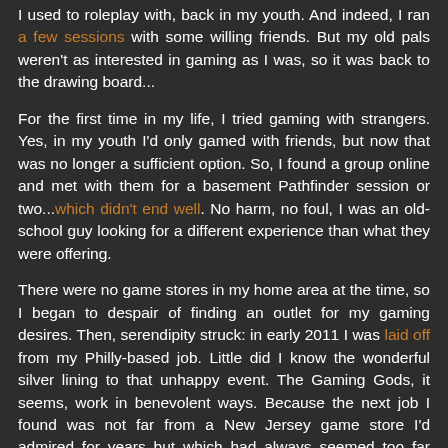I used to roleplay with, back in my youth. And indeed, I ran a few sessions with some willing friends. But my old pals weren't as interested in gaming as I was, so it was back to the drawing board...
For the first time in my life, I tried gaming with strangers. Yes, in my youth I'd only gamed with friends, but now that was no longer a sufficient option. So, I found a group online and met with them for a basement Pathfinder session or two...which didn't end well. No harm, no foul, I was an old-school guy looking for a different experience than what they were offering.
There were no game stores in my home area at the time, so I began to despair of finding an outlet for my gaming desires. Then, serendipity struck: in early 2011 I was laid off from my Philly-based job. Little did I know the wonderful silver lining to that unhappy event. The Gaming Gods, it seems, work in benevolent ways. Because the next job I found was not far from a New Jersey game store I'd admired for years but which had always seemed too far away: All Things Fun in West Berlin, New Jersey. Now, I was able to easily get to the